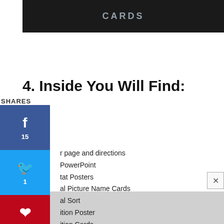[Figure (photo): Dark banner image with 'CARDS' text overlay]
4. Inside You Will Find:
SHARES
[Figure (infographic): Social media share buttons: Facebook (15), Twitter (1), Pinterest (4.9K), Reddit]
r page and directions
PowerPoint
tat Posters
al Picture Name Cards
al Sort
ition Poster
ition Cards
sheets
Mobile
[Figure (photo): Gray background with partial white cards visible at bottom of page]